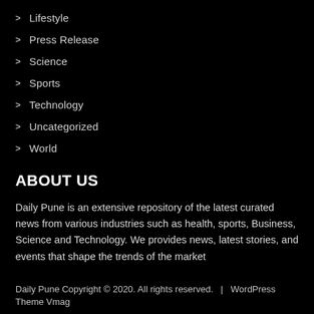Lifestyle
Press Release
Science
Sports
Technology
Uncategorized
World
ABOUT US
Daily Pune is an extensive repository of the latest curated news from various industries such as health, sports, Business, Science and Technology. We provides news, latest stories, and events that shape the trends of the market
Daily Pune Copyright © 2020. All rights reserved.  |  WordPress Theme Vmag